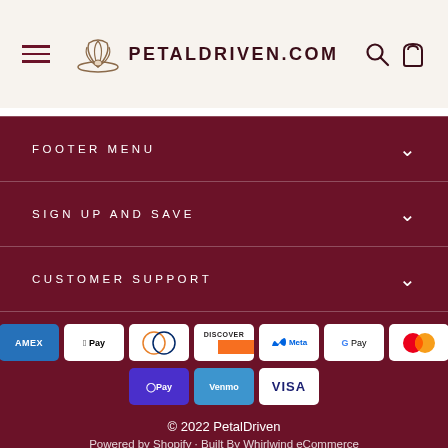PETALDRIVEN.COM
FOOTER MENU
SIGN UP AND SAVE
CUSTOMER SUPPORT
[Figure (other): Payment method icons: Amazon, Amex, Apple Pay, Diners Club, Discover, Meta Pay, Google Pay, Mastercard, PayPal, Shop Pay, Venmo, Visa]
© 2022 PetalDriven
Powered by Shopify · Built By Whirlwind eCommerce